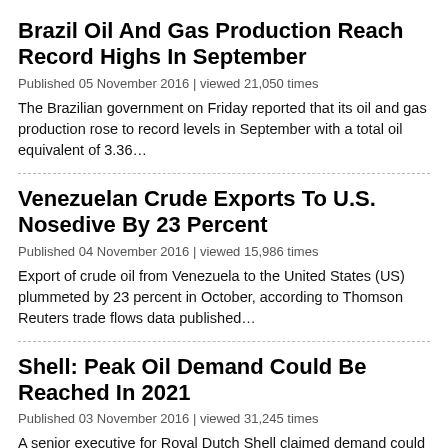Brazil Oil And Gas Production Reach Record Highs In September
Published 05 November 2016 | viewed 21,050 times
The Brazilian government on Friday reported that its oil and gas production rose to record levels in September with a total oil equivalent of 3.36…
Venezuelan Crude Exports To U.S. Nosedive By 23 Percent
Published 04 November 2016 | viewed 15,986 times
Export of crude oil from Venezuela to the United States (US) plummeted by 23 percent in October, according to Thomson Reuters trade flows data published…
Shell: Peak Oil Demand Could Be Reached In 2021
Published 03 November 2016 | viewed 31,245 times
A senior executive for Royal Dutch Shell claimed demand could reach its peak as early as 2021, which is much sooner than anticipated by others…